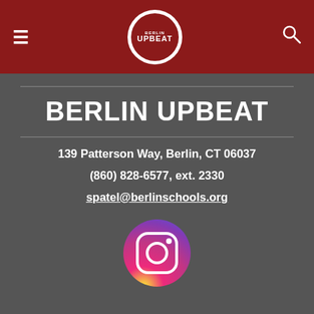Berlin Upbeat — navigation header with hamburger menu, logo, and search icon
BERLIN UPBEAT
139 Patterson Way, Berlin, CT 06037
(860) 828-6577, ext. 2330
spatel@berlinschools.org
[Figure (logo): Instagram logo icon — circular gradient (purple to orange) with white Instagram camera icon]